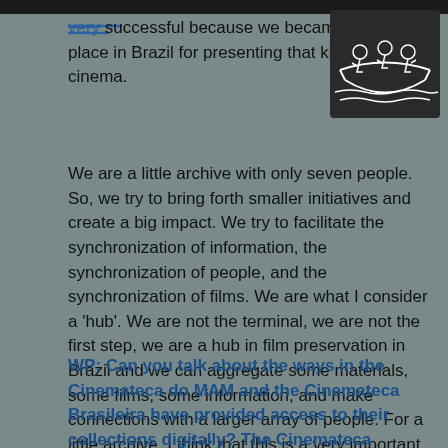very successful because we became the main place in Brazil for presenting that kind of cinema.
[Figure (illustration): White line drawing of people sitting in a boat, on a dark background]
We are a little archive with only seven people. So, we try to bring forth smaller initiatives and create a big impact. We try to facilitate the synchronization of information, the synchronization of people, and the synchronization of films. We are what I consider a 'hub'. We are not the terminal, we are not the first step, we are a hub in film preservation in Brazil and we can aggregate some materials, some films, some information, and make connections with a larger array of people. For a little archive, I think that this is a very important position to hold.
WP: Can you talk about the ways in the Cinemateca do MAM and the Cinemateca Brasileira have provided access to their collections digitally? The Cinemateca Brasileira, for example, provides access to some of their collections through BCC (Banco de Conteúdos